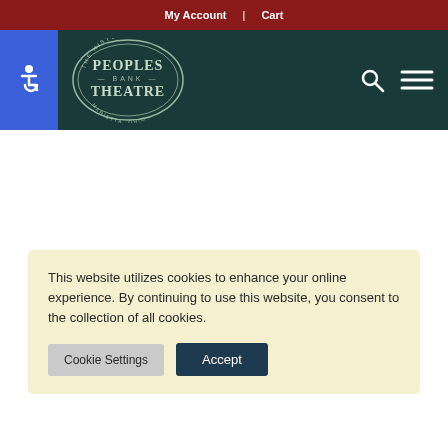My Account | Cart
[Figure (logo): Peoples Bank Theatre logo — historic circular badge style with text 'THE HISTORIC PEOPLES BANK THEATRE MARIETTA, OHIO']
This website utilizes cookies to enhance your online experience. By continuing to use this website, you consent to the collection of all cookies.